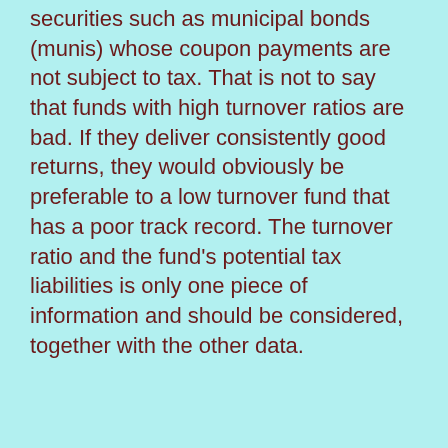securities such as municipal bonds (munis) whose coupon payments are not subject to tax. That is not to say that funds with high turnover ratios are bad. If they deliver consistently good returns, they would obviously be preferable to a low turnover fund that has a poor track record. The turnover ratio and the fund's potential tax liabilities is only one piece of information and should be considered, together with the other data.
An Example
Earlier I mentioned that investing in funds may have tax pitfalls, and that one of the most important pitfalls that many investors overlook is the